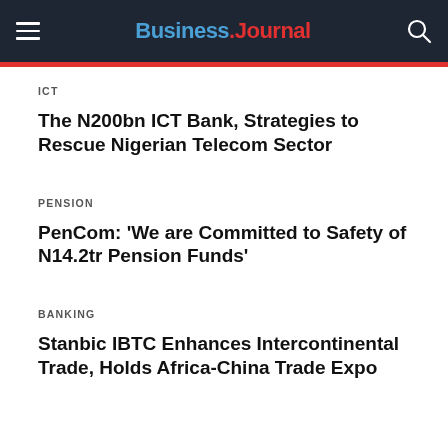Business Journal
ICT
The N200bn ICT Bank, Strategies to Rescue Nigerian Telecom Sector
PENSION
PenCom: 'We are Committed to Safety of N14.2tr Pension Funds'
BANKING
Stanbic IBTC Enhances Intercontinental Trade, Holds Africa-China Trade Expo